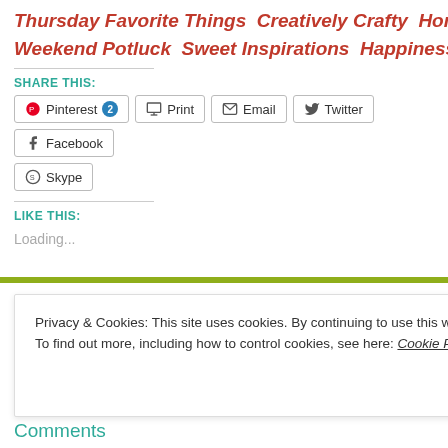Thursday Favorite Things  Creatively Crafty  Home M
Weekend Potluck  Sweet Inspirations  Happiness is H
SHARE THIS:
Pinterest 2  Print  Email  Twitter  Facebook  [partial]  Skype
LIKE THIS:
Loading...
Filed under creations, Fearless Friday, home decor,  Ta [partial right]
Privacy & Cookies: This site uses cookies. By continuing to use this website, you agree to their use.
To find out more, including how to control cookies, see here: Cookie Policy
Close and accept
Comments